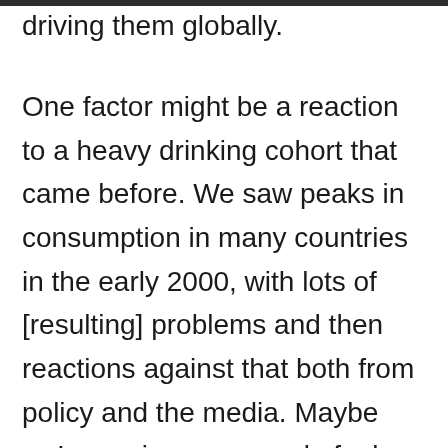driving them globally.
One factor might be a reaction to a heavy drinking cohort that came before. We saw peaks in consumption in many countries in the early 2000, with lots of [resulting] problems and then reactions against that both from policy and the media. Maybe we're seeing a reversal of a long trend. There is a theory that these things happen in waves and we could be in the down slope of one that will eventually bottom out and start again.